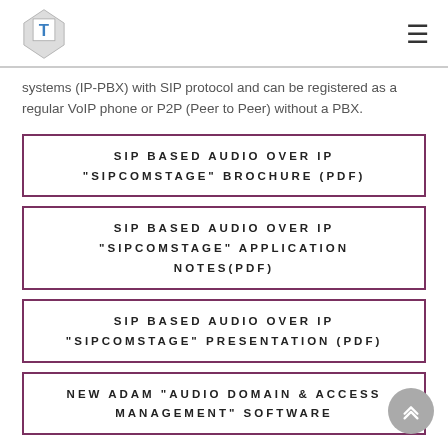T logo and navigation menu
systems (IP-PBX) with SIP protocol and can be registered as a regular VoIP phone or P2P (Peer to Peer) without a PBX.
SIP BASED AUDIO OVER IP "SIPCOMSTAGE" BROCHURE (PDF)
SIP BASED AUDIO OVER IP "SIPCOMSTAGE" APPLICATION NOTES(PDF)
SIP BASED AUDIO OVER IP "SIPCOMSTAGE" PRESENTATION (PDF)
NEW ADAM "AUDIO DOMAIN & ACCESS MANAGEMENT" SOFTWARE